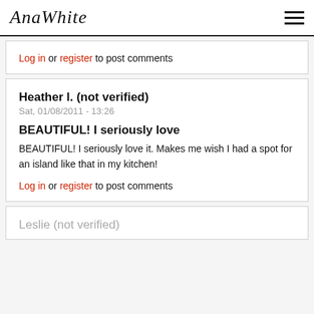AnaWhite
Log in or register to post comments
Heather l. (not verified)
Sat, 01/08/2011 - 13:26

BEAUTIFUL! I seriously love

BEAUTIFUL! I seriously love it. Makes me wish I had a spot for an island like that in my kitchen!

Log in or register to post comments
Leslie (not verified)